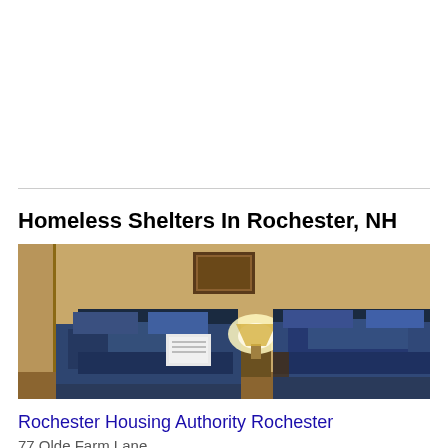[Figure (photo): A bedroom scene with two beds with blue/dark comforters, a lamp on a nightstand between them, and yellow/tan walls. A small framed picture is on the wall above.]
Homeless Shelters In Rochester, NH
Rochester Housing Authority Rochester
77 Olde Farm Lane